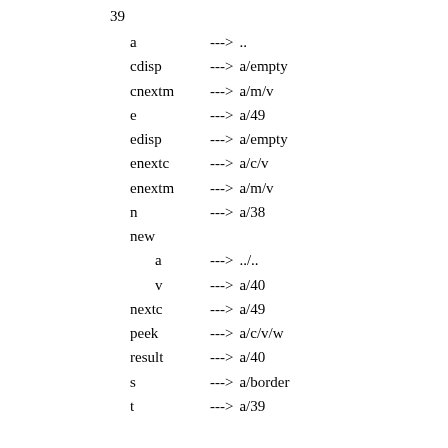39
a ---> ..
cdisp ---> a/empty
cnextm ---> a/m/v
e ---> a/49
edisp ---> a/empty
enextc ---> a/c/v
enextm ---> a/m/v
n ---> a/38
new
a ---> ../..
v ---> a/40
nextc ---> a/49
peek ---> a/c/v/w
result ---> a/40
s ---> a/border
t ---> a/39